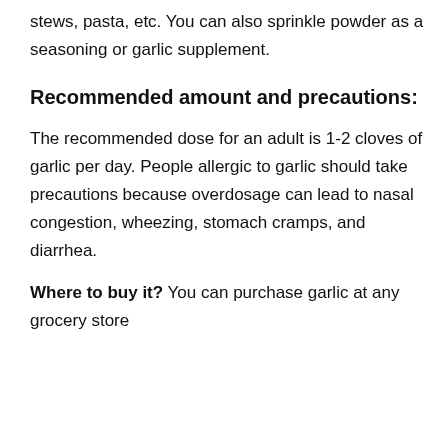stews, pasta, etc. You can also sprinkle powder as a seasoning or garlic supplement.
Recommended amount and precautions:
The recommended dose for an adult is 1-2 cloves of garlic per day. People allergic to garlic should take precautions because overdosage can lead to nasal congestion, wheezing, stomach cramps, and diarrhea.
Where to buy it? You can purchase garlic at any grocery store